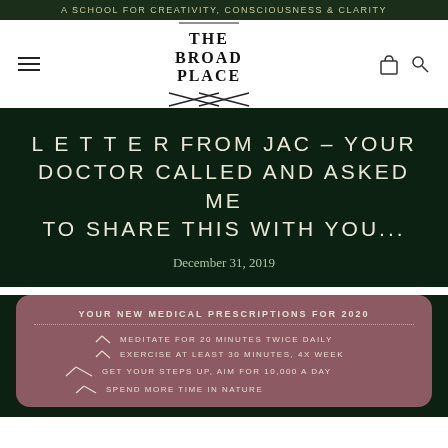A SCHOOL FOR CREATIVITY, CONSCIOUSNESS & CLARITY
[Figure (logo): The Broad Place logo with crossed lines underneath]
L E T T E R FROM JAC – YOUR DOCTOR CALLED AND ASKED ME TO SHARE THIS WITH YOU...
December 31, 2019
[Figure (infographic): YOUR NEW MEDICAL PRESCRIPTIONS FOR 2020 card with dotted divider and checklist items: MEDITATE FOR 20 MINUTES TWICE DAILY, EXERCISE AT LEAST 30 MINUTES, 4X WEEK, GET YOUR STEPS UP, AIM FOR 10,000 A DAY, SPEND MORE TIME IN NATURE]